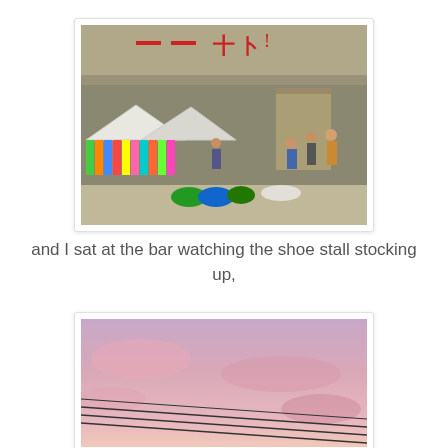[Figure (photo): Outdoor market scene under a concrete overpass/building. Colorful clothing stalls with bright garments hanging, market vendors and shoppers visible, white tent canopies, and bags on the ground. Warm golden light suggests early morning or late afternoon.]
and I sat at the bar watching the shoe stall stocking up,
[Figure (photo): Pink and purple sunset sky with power lines crossing diagonally in the lower portion. Soft pink clouds against a lavender-purple sky.]